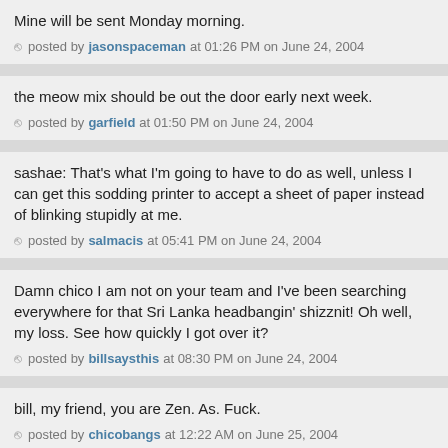Mine will be sent Monday morning.
posted by jasonspaceman at 01:26 PM on June 24, 2004
the meow mix should be out the door early next week.
posted by garfield at 01:50 PM on June 24, 2004
sashae: That's what I'm going to have to do as well, unless I can get this sodding printer to accept a sheet of paper instead of blinking stupidly at me.
posted by salmacis at 05:41 PM on June 24, 2004
Damn chico I am not on your team and I've been searching everywhere for that Sri Lanka headbangin' shizznit! Oh well, my loss. See how quickly I got over it?
posted by billsaysthis at 08:30 PM on June 24, 2004
bill, my friend, you are Zen. As. Fuck.
posted by chicobangs at 12:22 AM on June 25, 2004